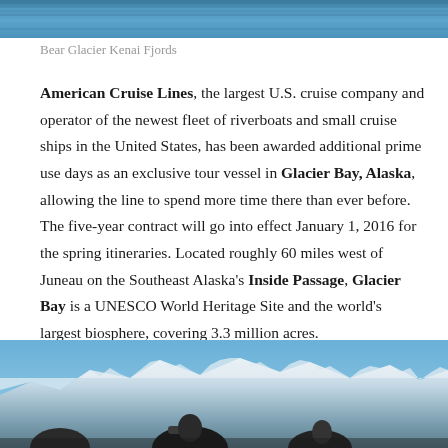[Figure (photo): Top portion of glacier/ocean photo, Bear Glacier Kenai Fjords]
Bear Glacier Kenai Fjords
American Cruise Lines, the largest U.S. cruise company and operator of the newest fleet of riverboats and small cruise ships in the United States, has been awarded additional prime use days as an exclusive tour vessel in Glacier Bay, Alaska, allowing the line to spend more time there than ever before. The five-year contract will go into effect January 1, 2016 for the spring itineraries. Located roughly 60 miles west of Juneau on the Southeast Alaska's Inside Passage, Glacier Bay is a UNESCO World Heritage Site and the world's largest biosphere, covering 3.3 million acres.
[Figure (photo): People viewing snow-capped mountains from a cruise ship deck, Glacier Bay Alaska]